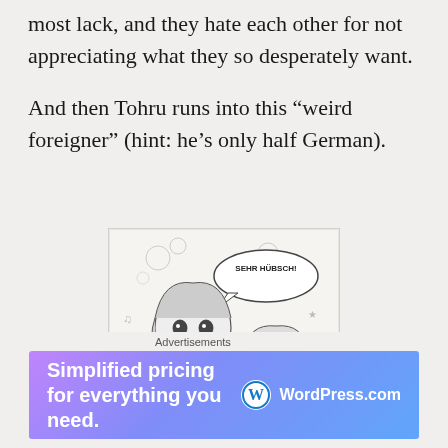most lack, and they hate each other for not appreciating what they so desperately want.
And then Tohru runs into this “weird foreigner” (hint: he’s only half German).
[Figure (illustration): Manga-style black and white illustration of two anime characters, one speaking with a speech bubble saying 'SEHR HUBSCH!']
Advertisements
[Figure (infographic): WordPress.com advertisement banner with gradient purple-to-blue background. Text reads 'Simplified pricing for everything you need.' with WordPress.com logo on the right.]